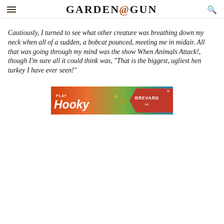GARDEN&GUN
Cautiously, I turned to see what other creature was breathing down my neck when all of a sudden, a bobcat pounced, meeting me in midair. All that was going through my mind was the show When Animals Attack!, though I'm sure all it could think was, “That is the biggest, ugliest hen turkey I have ever seen!”
[Figure (photo): Advertisement banner for Brevard, NC reading 'PLAY Hooky' with colorful background]